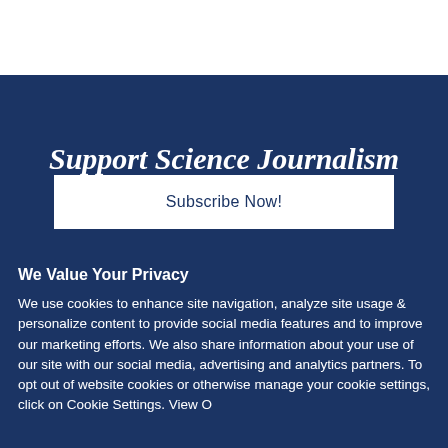Support Science Journalism
Subscribe Now!
FOLLOW US
We Value Your Privacy
We use cookies to enhance site navigation, analyze site usage & personalize content to provide social media features and to improve our marketing efforts. We also share information about your use of our site with our social media, advertising and analytics partners. To opt out of website cookies or otherwise manage your cookie settings, click on Cookie Settings. View O